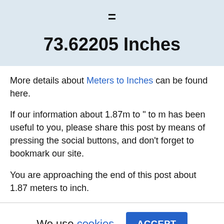=
73.62205 Inches
More details about Meters to Inches can be found here.
If our information about 1.87m to " to m has been useful to you, please share this post by means of pressing the social buttons, and don't forget to bookmark our site.
You are approaching the end of this post about 1.87 meters to inch.
We use cookies.
ACCEPT